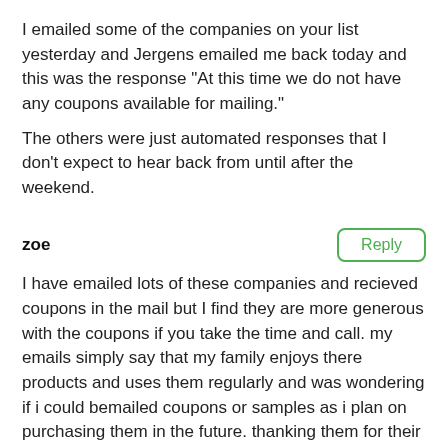I emailed some of the companies on your list yesterday and Jergens emailed me back today and this was the response "At this time we do not have any coupons available for mailing."
The others were just automated responses that I don't expect to hear back from until after the weekend.
zoe
Reply
I have emailed lots of these companies and recieved coupons in the mail but I find they are more generous with the coupons if you take the time and call. my emails simply say that my family enjoys there products and uses them regularly and was wondering if i could bemailed coupons or samples as i plan on purchasing them in the future. thanking them for their time and anticipated support. Works most of the time